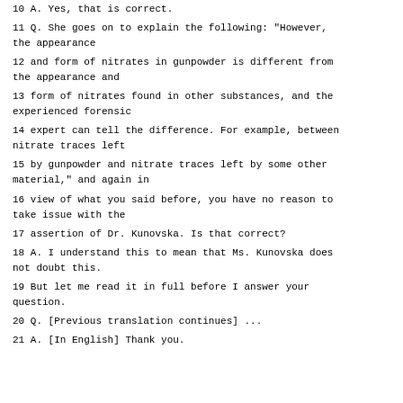10 A. Yes, that is correct.
11 Q. She goes on to explain the following: "However, the appearance
12 and form of nitrates in gunpowder is different from the appearance and
13 form of nitrates found in other substances, and the experienced forensic
14 expert can tell the difference. For example, between nitrate traces left
15 by gunpowder and nitrate traces left by some other material," and again in
16 view of what you said before, you have no reason to take issue with the
17 assertion of Dr. Kunovska. Is that correct?
18 A. I understand this to mean that Ms. Kunovska does not doubt this.
19 But let me read it in full before I answer your question.
20 Q. [Previous translation continues] ...
21 A. [In English] Thank you.